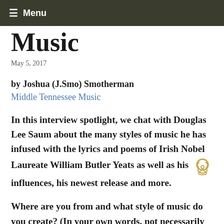≡ Menu
Music
May 5, 2017
by Joshua (J.Smo) Smotherman
Middle Tennessee Music
In this interview spotlight, we chat with Douglas Lee Saum about the many styles of music he has infused with the lyrics and poems of Irish Nobel Laureate William Butler Yeats as well as his influences, his newest release and more.
Where are you from and what style of music do you create? (In your own words, not necessarily